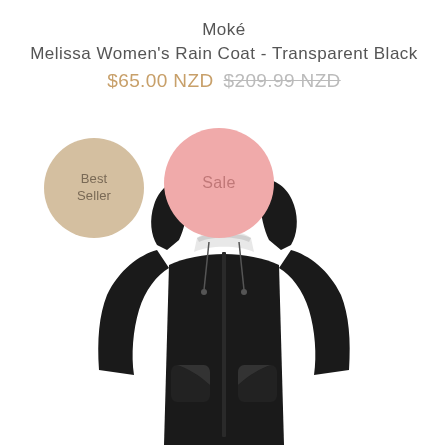Moké
Melissa Women's Rain Coat - Transparent Black
$65.00 NZD $209.99 NZD
[Figure (photo): Black women's rain coat (Melissa model) with hood, drawstring collar, zip front, and two front pockets. Displayed on white background. Two circular badges overlay the image: a tan/beige 'Best Seller' badge on the left and a pink 'Sale' badge in the center.]